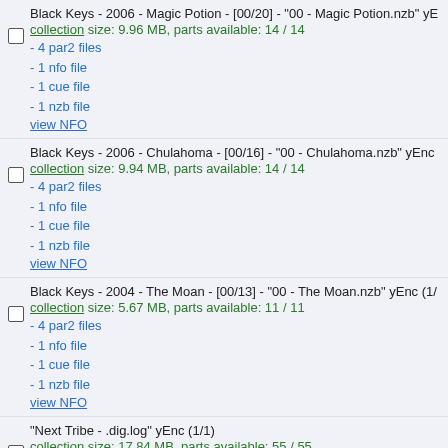Black Keys - 2006 - Magic Potion - [00/20] - "00 - Magic Potion.nzb" yE
collection size: 9.96 MB, parts available: 14 / 14
- 4 par2 files
- 1 nfo file
- 1 cue file
- 1 nzb file
view NFO
Black Keys - 2006 - Chulahoma - [00/16] - "00 - Chulahoma.nzb" yEnc
collection size: 9.94 MB, parts available: 14 / 14
- 4 par2 files
- 1 nfo file
- 1 cue file
- 1 nzb file
view NFO
Black Keys - 2004 - The Moan - [00/13] - "00 - The Moan.nzb" yEnc (1/
collection size: 5.67 MB, parts available: 11 / 11
- 4 par2 files
- 1 nfo file
- 1 cue file
- 1 nzb file
view NFO
"Next Tribe - .dig.log" yEnc (1/1)
collection size: 17.84 MB, parts available: 55 / 55
- 7 par2 files
- 1 nzb file
- 1 nfo file
- 1 log file
view NFO
(NMR) "PAUL REVERE & THE RAIDERS - ALIAS PINK PUZZ.log" yEn
collection size: 10.27 MB, parts available: 35 / 35
- 6 par2 files
- 1 nzb file
- 1 nfo file
- 1 log file
view NFO